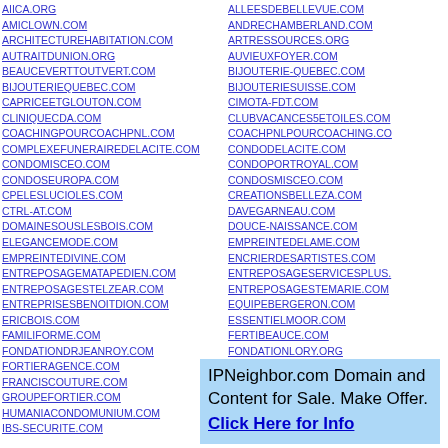AIICA.ORG
AMICLOWN.COM
ARCHITECTUREHABITATION.COM
AUTRAITDUNION.ORG
BEAUCEVERTTOUTVERT.COM
BIJOUTERIEQUEBEC.COM
CAPRICEETGLOUTON.COM
CLINIQUECDA.COM
COACHINGPOURCOACHPNL.COM
COMPLEXEFUNERAIREDELACITE.COM
CONDOMISCEO.COM
CONDOSEUROPA.COM
CPELESLUCIOLES.COM
CTRL-AT.COM
DOMAINESOUSLESBOIS.COM
ELEGANCEMODE.COM
EMPREINTEDIVINE.COM
ENTREPOSAGEMATAPEDIEN.COM
ENTREPOSAGESTELZEAR.COM
ENTREPRISESBENOITDION.COM
ERICBOIS.COM
FAMILIFORME.COM
FONDATIONDRJEANROY.COM
FORTIERAGENCE.COM
FRANCISCOUTURE.COM
GROUPEFORTIER.COM
HUMANIACONDOMUNIUM.COM
IBS-SECURITE.COM
ALLEESDEBELLEVUE.COM
ANDRECHAMBERLAND.COM
ARTRESSOURCES.ORG
AUVIEUXFOYER.COM
BIJOUTERIE-QUEBEC.COM
BIJOUTERIESUISSE.COM
CIMOTA-FDT.COM
CLUBVACANCES5ETOILES.COM
COACHPNLPOURCOACHING.COM
CONDODELACITE.COM
CONDOPORTROYAL.COM
CONDOSMISCEO.COM
CREATIONSBELLEZA.COM
DAVEGARNEAU.COM
DOUCE-NAISSANCE.COM
EMPREINTEDELAME.COM
ENCRIERDESARTISTES.COM
ENTREPOSAGESERVICESPLUS.
ENTREPOSAGESTEMARIE.COM
EQUIPEBERGERON.COM
ESSENTIELMOOR.COM
FERTIBEAUCE.COM
FONDATIONLORY.ORG
FORTIERCOURTIER.COM
IPNeighbor.com Domain and Content for Sale. Make Offer. Click Here for Info